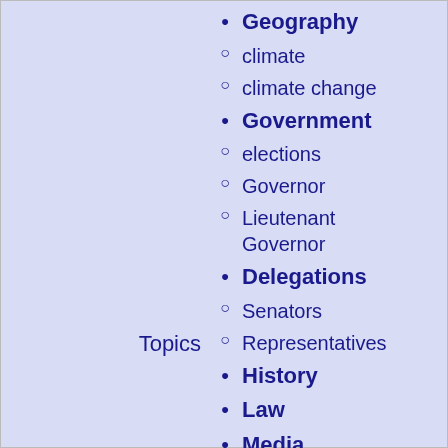Geography
climate
climate change
Government
elections
Governor
Lieutenant Governor
Delegations
Senators
Representatives
History
Law
Media
Municipalities
Music
Parks
People
Sports